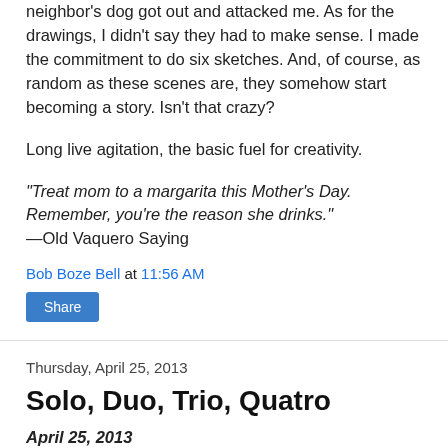neighbor's dog got out and attacked me. As for the drawings, I didn't say they had to make sense. I made the commitment to do six sketches. And, of course, as random as these scenes are, they somehow start becoming a story. Isn't that crazy?
Long live agitation, the basic fuel for creativity.
"Treat mom to a margarita this Mother’s Day. Remember, you’re the reason she drinks."
—Old Vaquero Saying
Bob Boze Bell at 11:56 AM
Share
Thursday, April 25, 2013
Solo, Duo, Trio, Quatro
April 25, 2013